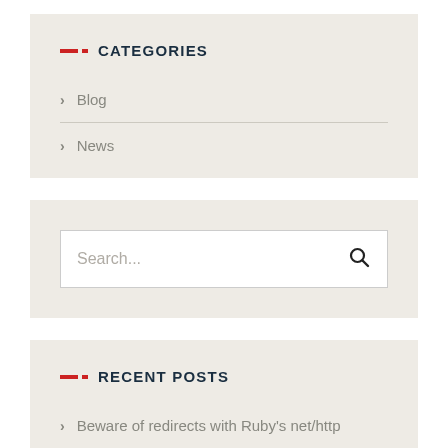CATEGORIES
Blog
News
[Figure (other): Search input field with search icon]
RECENT POSTS
Beware of redirects with Ruby's net/http